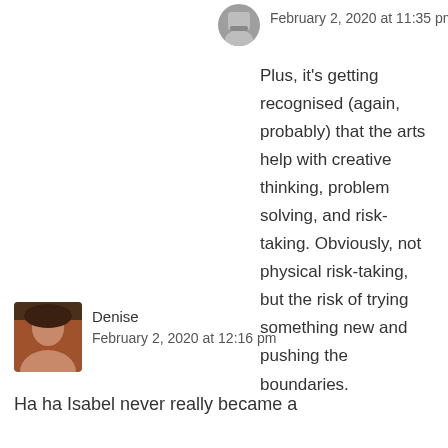[Figure (photo): Small circular avatar photo of a person wearing a mask, positioned top center-right area]
February 2, 2020 at 11:35 pm
Plus, it’s getting recognised (again, probably) that the arts help with creative thinking, problem solving, and risk-taking. Obviously, not physical risk-taking, but the risk of trying something new and pushing the boundaries.
[Figure (photo): Small square/rounded avatar photo of a woman named Denise]
Denise
February 2, 2020 at 12:16 pm
Ha ha Isabel never really became a